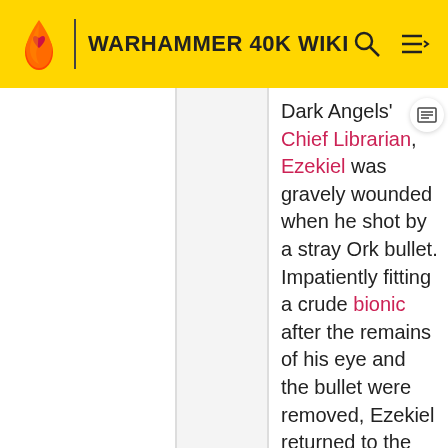WARHAMMER 40K WIKI
Dark Angels' Chief Librarian, Ezekiel was gravely wounded when he shot by a stray Ork bullet. Impatiently fitting a crude bionic after the remains of his eye and the bullet were removed, Ezekiel returned to the battle and rallied the 5th Company. He led a successful counter-attack that broke